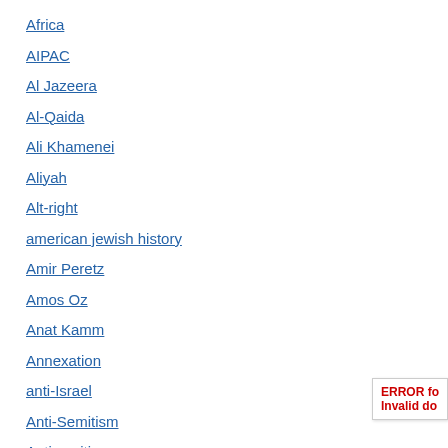Africa
AIPAC
Al Jazeera
Al-Qaida
Ali Khamenei
Aliyah
Alt-right
american jewish history
Amir Peretz
Amos Oz
Anat Kamm
Annexation
anti-Israel
Anti-Semitism
Antisemitism
ERROR fo... Invalid do...